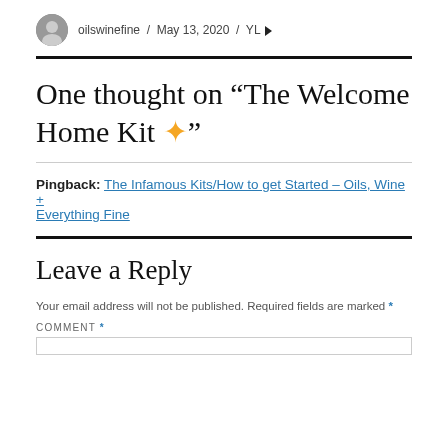oilswinefine / May 13, 2020 / YL ▶
One thought on “The Welcome Home Kit ✨”
Pingback: The Infamous Kits/How to get Started – Oils, Wine + Everything Fine
Leave a Reply
Your email address will not be published. Required fields are marked *
COMMENT *